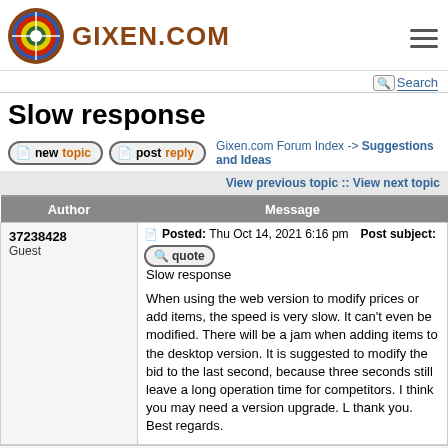GIXEN.COM
Search
Slow response
new topic   post reply   Gixen.com Forum Index -> Suggestions and Ideas
View previous topic :: View next topic
| Author | Message |
| --- | --- |
| 37238428
Guest | Posted: Thu Oct 14, 2021 6:16 pm   Post subject: quote
Slow response

When using the web version to modify prices or add items, the speed is very slow. It can't even be modified. There will be a jam when adding items to the desktop version. It is suggested to modify the bid to the last second, because three seconds still leave a long operation time for competitors. I think you may need a version upgrade. L thank you. Best regards. |
| Cupid | Posted: Sun Oct 17, 2021 4:53 am   Post subject: quote |
Back to top